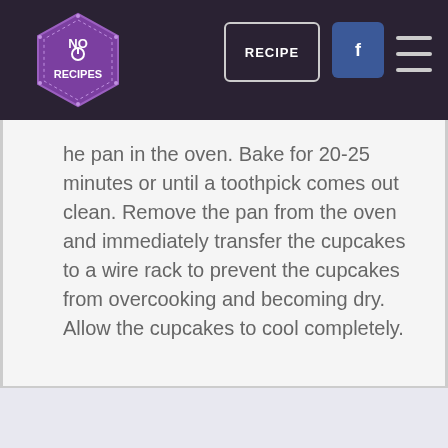No Recipes — RECIPE | Facebook | Menu
the pan in the oven. Bake for 20-25 minutes or until a toothpick comes out clean. Remove the pan from the oven and immediately transfer the cupcakes to a wire rack to prevent the cupcakes from overcooking and becoming dry. Allow the cupcakes to cool completely.